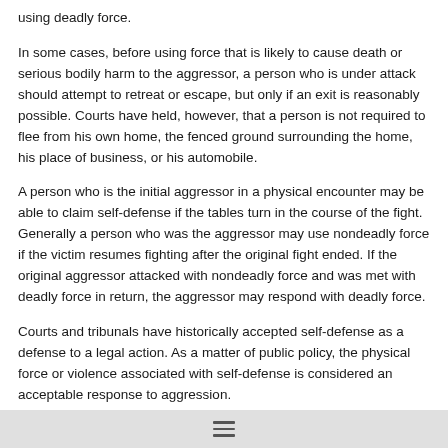using deadly force.
In some cases, before using force that is likely to cause death or serious bodily harm to the aggressor, a person who is under attack should attempt to retreat or escape, but only if an exit is reasonably possible. Courts have held, however, that a person is not required to flee from his own home, the fenced ground surrounding the home, his place of business, or his automobile.
A person who is the initial aggressor in a physical encounter may be able to claim self-defense if the tables turn in the course of the fight. Generally a person who was the aggressor may use nondeadly force if the victim resumes fighting after the original fight ended. If the original aggressor attacked with nondeadly force and was met with deadly force in return, the aggressor may respond with deadly force.
Courts and tribunals have historically accepted self-defense as a defense to a legal action. As a matter of public policy, the physical force or violence associated with self-defense is considered an acceptable response to aggression.
Self-Defense or Unjustified Shooting?